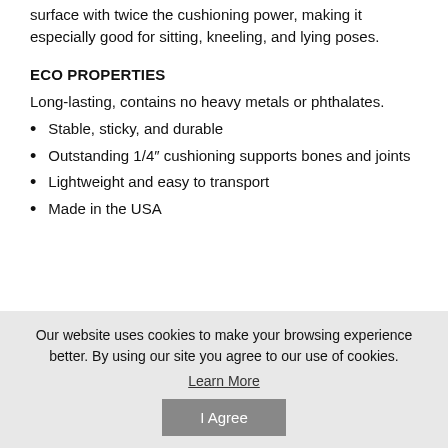surface with twice the cushioning power, making it especially good for sitting, kneeling, and lying poses.
ECO PROPERTIES
Long-lasting, contains no heavy metals or phthalates.
Stable, sticky, and durable
Outstanding 1/4″ cushioning supports bones and joints
Lightweight and easy to transport
Made in the USA
Our website uses cookies to make your browsing experience better. By using our site you agree to our use of cookies. Learn More I Agree